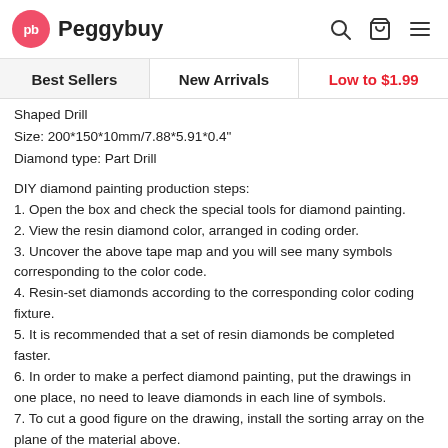Peggybuy
Shaped Drill
Size: 200*150*10mm/7.88*5.91*0.4"
Diamond type: Part Drill
DIY diamond painting production steps:
1. Open the box and check the special tools for diamond painting.
2. View the resin diamond color, arranged in coding order.
3. Uncover the above tape map and you will see many symbols corresponding to the color code.
4. Resin-set diamonds according to the corresponding color coding fixture.
5. It is recommended that a set of resin diamonds be completed faster.
6. In order to make a perfect diamond painting, put the drawings in one place, no need to leave diamonds in each line of symbols.
7. To cut a good figure on the drawing, install the sorting array on the plane of the material above.
8. The stitching needs to be flat, neat, and free of cracks.